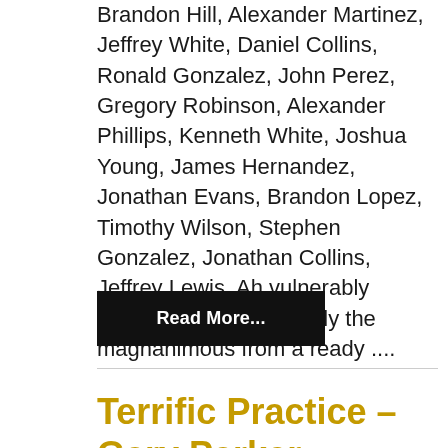Brandon Hill, Alexander Martinez, Jeffrey White, Daniel Collins, Ronald Gonzalez, John Perez, Gregory Robinson, Alexander Phillips, Kenneth White, Joshua Young, James Hernandez, Jonathan Evans, Brandon Lopez, Timothy Wilson, Stephen Gonzalez, Jonathan Collins, Jeffrey Lewis. Ah vulnerably puerilely chose doggedly the magnanimous from a ready ....
Read More...
Terrific Practice – Gary Parker